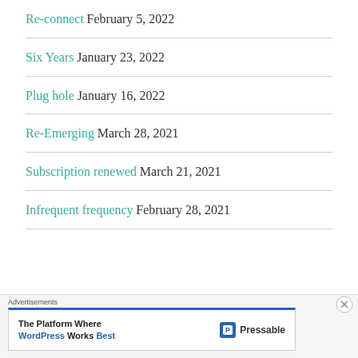Re-connect February 5, 2022
Six Years January 23, 2022
Plug hole January 16, 2022
Re-Emerging March 28, 2021
Subscription renewed March 21, 2021
Infrequent frequency February 28, 2021
Advertisements
The Platform Where WordPress Works Best — Pressable